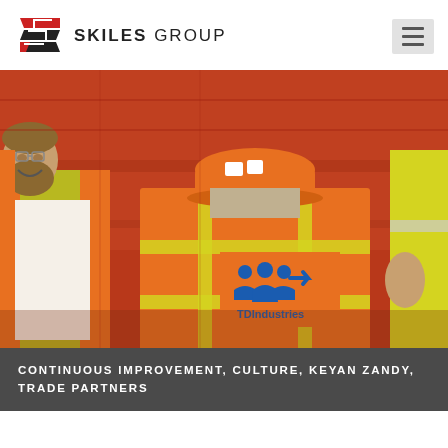SKILES GROUP
[Figure (photo): Construction workers in safety vests and hard hats, one wearing an orange TDIndustries vest, gathered on a jobsite with red shipping containers in the background]
CONTINUOUS IMPROVEMENT, CULTURE, KEYAN ZANDY, TRADE PARTNERS